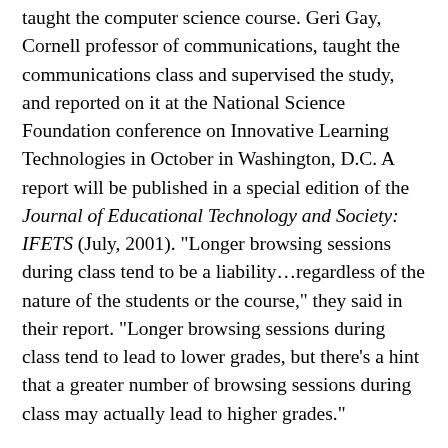taught the computer science course. Geri Gay, Cornell professor of communications, taught the communications class and supervised the study, and reported on it at the National Science Foundation conference on Innovative Learning Technologies in October in Washington, D.C. A report will be published in a special edition of the Journal of Educational Technology and Society: IFETS (July, 2001). "Longer browsing sessions during class tend to be a liability…regardless of the nature of the students or the course," they said in their report. "Longer browsing sessions during class tend to lead to lower grades, but there's a hint that a greater number of browsing sessions during class may actually lead to higher grades."
The researchers also found differences between men and women in the kinds of web sites that were most distracting. Men's grades suffered most when they browsed sports and finance, while women were more likely to get lower grades